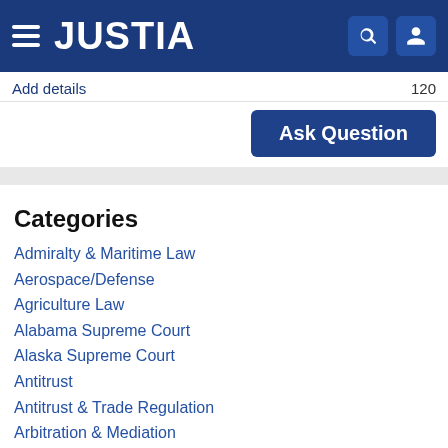JUSTIA
Add details  120
Ask Question
Categories
Admiralty & Maritime Law
Aerospace/Defense
Agriculture Law
Alabama Supreme Court
Alaska Supreme Court
Antitrust
Antitrust & Trade Regulation
Arbitration & Mediation
Arizona Supreme Court
Arkansas Supreme Court
Aviation
Banking